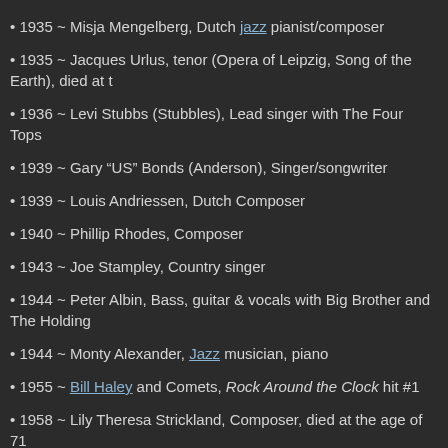1935 ~ Misja Mengelberg, Dutch jazz pianist/composer
1935 ~ Jacques Urlus, tenor (Opera of Leipzig, Song of the Earth), died at t
1936 ~ Levi Stubbs (Stubbles), Lead singer with The Four Tops
1939 ~ Gary “US” Bonds (Anderson), Singer/songwriter
1939 ~ Louis Andriessen, Dutch Composer
1940 ~ Phillip Rhodes, Composer
1943 ~ Joe Stampley, Country singer
1944 ~ Peter Albin, Bass, guitar & vocals with Big Brother and The Holding
1944 ~ Monty Alexander, Jazz musician, piano
1955 ~ Bill Haley and Comets, Rock Around the Clock hit #1
1958 ~ Lily Theresa Strickland, Composer, died at the age of 71
1962 ~ The Beatles met their producer George Martin for first time. After list audition tapes, Martin said, “They’re pretty awful.” He changed his mind after however.